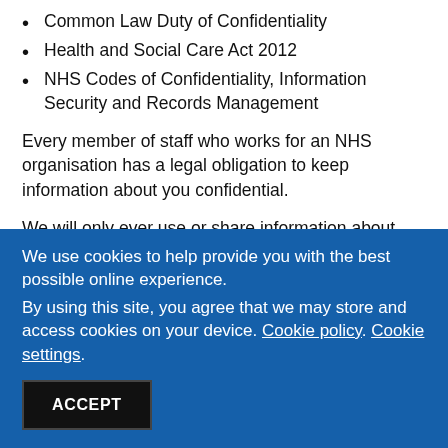Common Law Duty of Confidentiality
Health and Social Care Act 2012
NHS Codes of Confidentiality, Information Security and Records Management
Every member of staff who works for an NHS organisation has a legal obligation to keep information about you confidential.
We will only ever use or share information about you if there is a genuine need for it.
We use cookies to help provide you with the best possible online experience.
By using this site, you agree that we may store and access cookies on your device. Cookie policy. Cookie settings.
ACCEPT